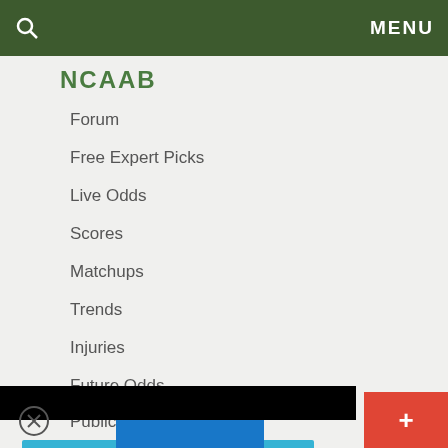MENU
NCAAB
Forum
Free Expert Picks
Live Odds
Scores
Matchups
Trends
Injuries
Future Odds
Public Bets
This website uses cookies to ensure you get the best experience on our website.
[Figure (photo): Advertisement banner: The perfect gift, 35% OFF + FREE SHIPPING]